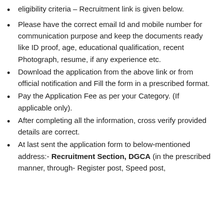eligibility criteria – Recruitment link is given below.
Please have the correct email Id and mobile number for communication purpose and keep the documents ready like ID proof, age, educational qualification, recent Photograph, resume, if any experience etc.
Download the application from the above link or from official notification and Fill the form in a prescribed format.
Pay the Application Fee as per your Category. (If applicable only).
After completing all the information, cross verify provided details are correct.
At last sent the application form to below-mentioned address:- Recruitment Section, DGCA (in the prescribed manner, through- Register post, Speed post,